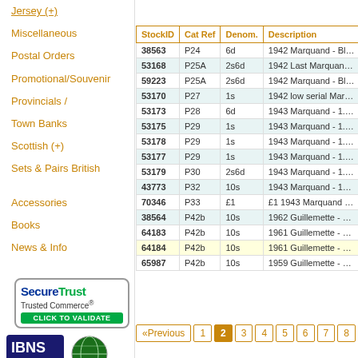Jersey (+)
Miscellaneous
Postal Orders
Promotional/Souvenir
Provincials /
Town Banks
Scottish (+)
Sets & Pairs British
Accessories
Books
News & Info
[Figure (logo): SecureTrust Trusted Commerce - Click to Validate badge]
[Figure (logo): IBNS Member badge with globe logo]
| StockID | Cat Ref | Denom. | Description |
| --- | --- | --- | --- |
| 38563 | P24 | 6d | 1942 Marquand - Blue Paper - 1... |
| 53168 | P25A | 2s6d | 1942 Last Marquand - Blue Pape... |
| 59223 | P25A | 2s6d | 1942 Marquand - Blue Paper - 1... |
| 53170 | P27 | 1s | 1942 low serial Marquand - Blue... |
| 53173 | P28 | 6d | 1943 Marquand - 1.1.43 - Pink o... |
| 53175 | P29 | 1s | 1943 Marquand - 1.1.43 - 1/- Ow... |
| 53178 | P29 | 1s | 1943 Marquand - 1.1.43 - 1/- Ow... |
| 53177 | P29 | 1s | 1943 Marquand - 1.1.43 - 1/- Ow... |
| 53179 | P30 | 2s6d | 1943 Marquand - 1.1.43 - 2/6 in... |
| 43773 | P32 | 10s | 1943 Marquand - 1943 - Blue on... |
| 70346 | P33 | £1 | £1 1943 Marquand - 1943 - Blac... |
| 38564 | P42b | 10s | 1962 Guillemette - 1958-1965 - 1... |
| 64183 | P42b | 10s | 1961 Guillemette - 1958-1965 - 1... |
| 64184 | P42b | 10s | 1961 Guillemette - 1958-1965 - 1... |
| 65987 | P42b | 10s | 1959 Guillemette - 1958-1965 - 1... |
«Previous 1 2 3 4 5 6 7 8 Next